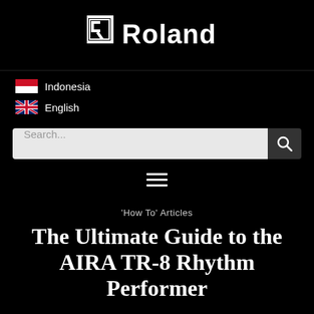[Figure (logo): Roland logo in white on black background]
Indonesia
English
Search...
≡ (hamburger menu icon)
'How To' Articles
The Ultimate Guide to the AIRA TR-8 Rhythm Performer